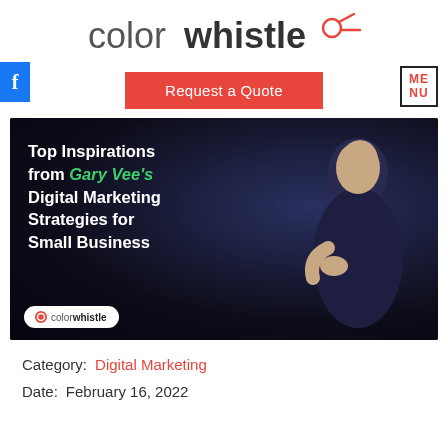[Figure (logo): ColorWhistle logo with stylized whistle icon in top center]
[Figure (infographic): Red 'Request a Quote' button center, MENU box top-right, Facebook icon top-left]
[Figure (photo): Dark banner image with text 'Top Inspirations from Gary Vee's Digital Marketing Strategies for Small Business' and a man on stage. ColorWhistle badge at bottom left.]
Category: Digital Marketing
Date: February 16, 2022